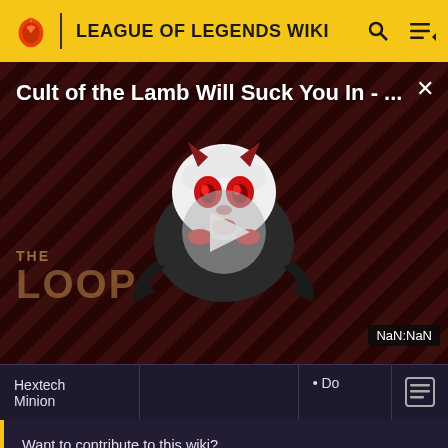LEAGUE OF LEGENDS WIKI
[Figure (screenshot): Video ad thumbnail for 'Cult of the Lamb Will Suck You In - ...' showing a cartoon lamb creature with red eyes on a dark diagonal striped background, with a play button in the center and THE LOOP watermark. Shows NaN:NaN timestamp and a close (X) button.]
| Hextech |  | • Do |
| Minion |  |  |
Want to contribute to this wiki?
Sign up for an account, and get started!
You can even turn off ads in your preferences.